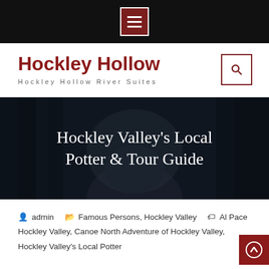[Navigation bar with hamburger menu]
Hockley Hollow
Hockley Hollow River Suites
Hockley Valley's Local Potter & Tour Guide
admin  Famous Persons, Hockley Valley  Al Pace Hockley Valley, Canoe North Adventure of Hockley Valley, Hockley Valley's Local Potter